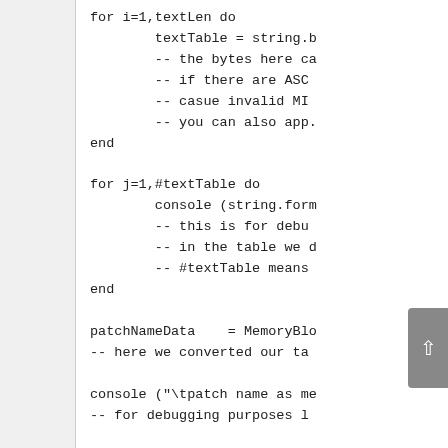Code block showing Lua/scripting code with loops (for i=1,textLen do ... end), (for j=1,#textTable do ... end), patchNameData assignment, console calls, and comments about constructing data structures.